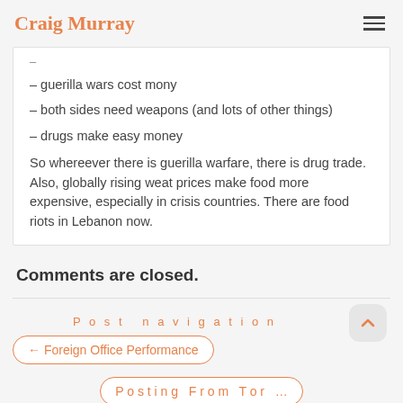Craig Murray
– guerilla wars cost mony
– both sides need weapons (and lots of other things)
– drugs make easy money
So whereever there is guerilla warfare, there is drug trade. Also, globally rising weat prices make food more expensive, especially in crisis countries. There are food riots in Lebanon now.
Comments are closed.
Post navigation
← Foreign Office Performance